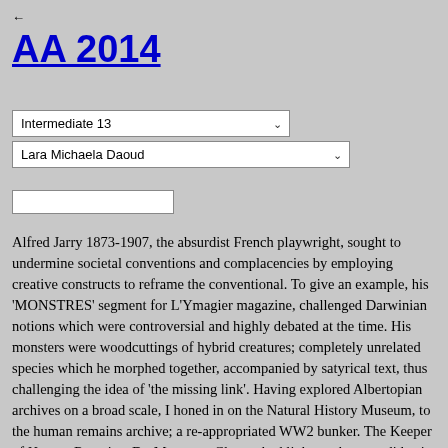←
AA 2014
[Figure (screenshot): Dropdown selector showing 'Intermediate 13']
[Figure (screenshot): Dropdown selector showing 'Lara Michaela Daoud']
[Figure (screenshot): Empty text input field]
Alfred Jarry 1873-1907, the absurdist French playwright, sought to undermine societal conventions and complacencies by employing creative constructs to reframe the conventional. To give an example, his 'MONSTRES' segment for L'Ymagier magazine, challenged Darwinian notions which were controversial and highly debated at the time. His monsters were woodcuttings of hybrid creatures; completely unrelated species which he morphed together, accompanied by satyrical text, thus challenging the idea of 'the missing link'. Having explored Albertopian archives on a broad scale, I honed in on the Natural History Museum, to the human remains archive; a re-appropriated WW2 bunker. The Keeper of Human Remains, Dr. Margarett Clegg, shed light on the very didactic role of this archive to serve as a research hub to